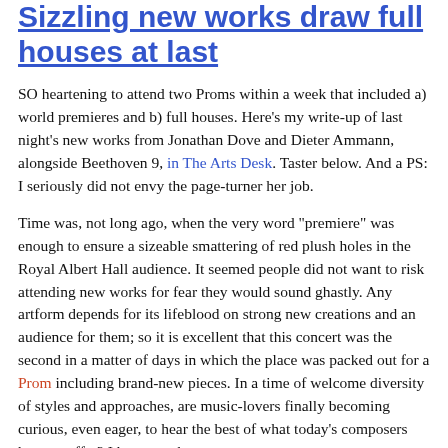Sizzling new works draw full houses at last
SO heartening to attend two Proms within a week that included a) world premieres and b) full houses. Here's my write-up of last night's new works from Jonathan Dove and Dieter Ammann, alongside Beethoven 9, in The Arts Desk. Taster below. And a PS: I seriously did not envy the page-turner her job.
Time was, not long ago, when the very word "premiere" was enough to ensure a sizeable smattering of red plush holes in the Royal Albert Hall audience. It seemed people did not want to risk attending new works for fear they would sound ghastly. Any artform depends for its lifeblood on strong new creations and an audience for them; so it is excellent that this concert was the second in a matter of days in which the place was packed out for a Prom including brand-new pieces. In a time of welcome diversity of styles and approaches, are music-lovers finally becoming curious, even eager, to hear the best of what today's composers have to offer? I hope so - because